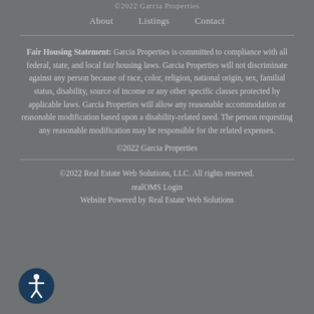©2022 Garcia Properties
About    Listings    Contact
Fair Housing Statement: Garcia Properties is committed to compliance with all federal, state, and local fair housing laws. Garcia Properties will not discriminate against any person because of race, color, religion, national origin, sex, familial status, disability, source of income or any other specific classes protected by applicable laws. Garcia Properties will allow any reasonable accommodation or reasonable modification based upon a disability-related need. The person requesting any reasonable modification may be responsible for the related expenses.
©2022 Garcia Properties
©2022 Real Estate Web Solutions, LLC. All rights reserved.
realOMS Login
Website Powered by Real Estate Web Solutions